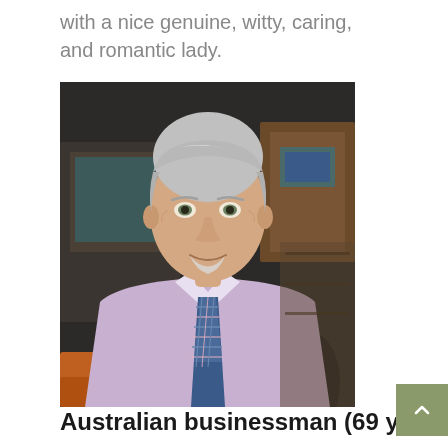with a nice genuine, witty, caring, and romantic lady.
[Figure (photo): Middle-aged man with silver hair wearing a light purple dress shirt and a blue plaid tie, sitting in an office environment, smiling at camera.]
Australian businessman (69 y.o)